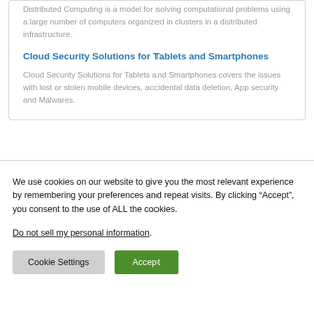Distributed Computing is a model for solving computational problems using a large number of computers organized in clusters in a distributed infrastructure.
Cloud Security Solutions for Tablets and Smartphones
Cloud Security Solutions for Tablets and Smartphones covers the issues with lost or stolen mobile devices, accidental data deletion, App security and Malwares.
We use cookies on our website to give you the most relevant experience by remembering your preferences and repeat visits. By clicking “Accept”, you consent to the use of ALL the cookies.
Do not sell my personal information.
Cookie Settings
Accept